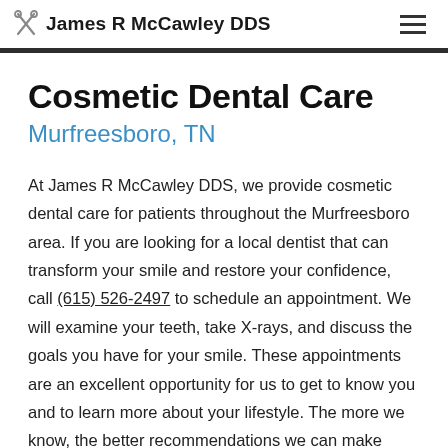James R McCawley DDS
Cosmetic Dental Care
Murfreesboro, TN
At James R McCawley DDS, we provide cosmetic dental care for patients throughout the Murfreesboro area. If you are looking for a local dentist that can transform your smile and restore your confidence, call (615) 526-2497 to schedule an appointment. We will examine your teeth, take X-rays, and discuss the goals you have for your smile. These appointments are an excellent opportunity for us to get to know you and to learn more about your lifestyle. The more we know, the better recommendations we can make regarding what type of